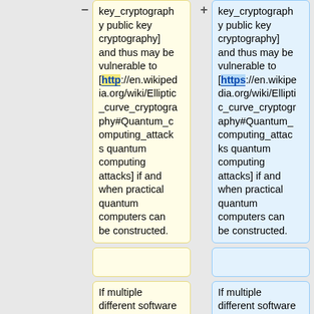key_cryptography public key cryptography] and thus may be vulnerable to [http://en.wikipedia.org/wiki/Elliptic_curve_cryptography#Quantum_computing_attacks quantum computing attacks] if and when practical quantum computers can be constructed.
key_cryptography public key cryptography] and thus may be vulnerable to [https://en.wikipedia.org/wiki/Elliptic_curve_cryptography#Quantum_computing_attacks quantum computing attacks] if and when practical quantum computers can be constructed.
If multiple different software packages, whose
If multiple different software packages, whose